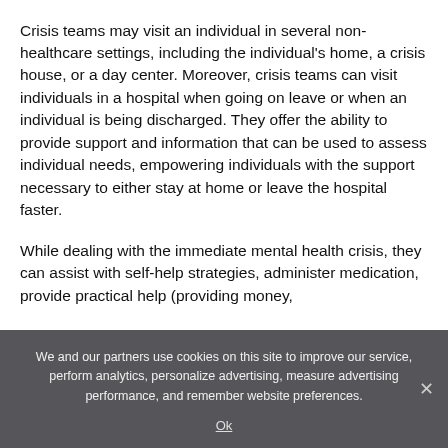Crisis teams may visit an individual in several non-healthcare settings, including the individual's home, a crisis house, or a day center. Moreover, crisis teams can visit individuals in a hospital when going on leave or when an individual is being discharged. They offer the ability to provide support and information that can be used to assess individual needs, empowering individuals with the support necessary to either stay at home or leave the hospital faster.
While dealing with the immediate mental health crisis, they can assist with self-help strategies, administer medication, provide practical help (providing money,
We and our partners use cookies on this site to improve our service, perform analytics, personalize advertising, measure advertising performance, and remember website preferences.
Ok